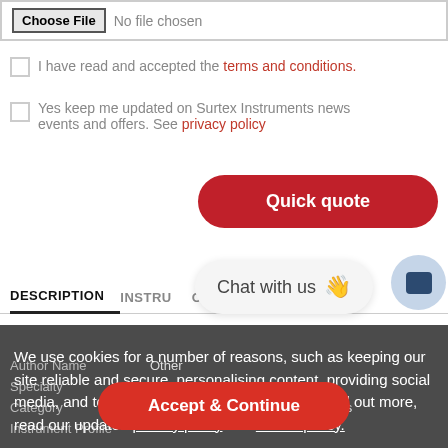[Figure (screenshot): File input field with Choose File button and 'No file chosen' text]
I have read and accepted the terms and conditions.
Yes keep me updated on Surtex Instruments news events and offers. See privacy policy
Quick quote
DESCRIPTION
[Figure (screenshot): Chat with us bubble with waving hand emoji and chat icon circle]
We use cookies for a number of reasons, such as keeping our site reliable and secure, personalising content, providing social media, and to analyze how our site is used. To find out more, read our updated privacy policy and cookie policy.
|  |  |
| --- | --- |
| Author Name | Other |
| Specialty | Dental |
| Category | Ancillary Products and Accessories |
| Instrument Profile |  |
Accept & Continue